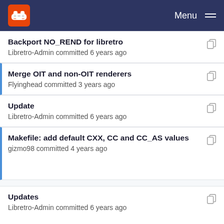Menu
Backport NO_REND for libretro
Libretro-Admin committed 6 years ago
Merge OIT and non-OIT renderers
Flyinghead committed 3 years ago
Update
Libretro-Admin committed 6 years ago
Makefile: add default CXX, CC and CC_AS values
gizmo98 committed 4 years ago
Updates
Libretro-Admin committed 6 years ago
use openmp for texture upscaling
Libretro-Admin committed 4 years ago
Updates